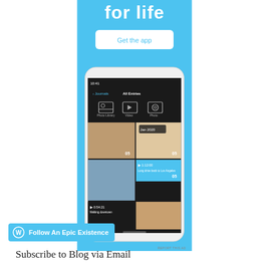[Figure (screenshot): Mobile app advertisement with blue background showing 'for life' text, 'Get the app' button, and a smartphone screenshot of a photo journal app interface]
REPORT THIS AD
[Figure (logo): WordPress follow button - Follow An Epic Existence]
Subscribe to Blog via Email